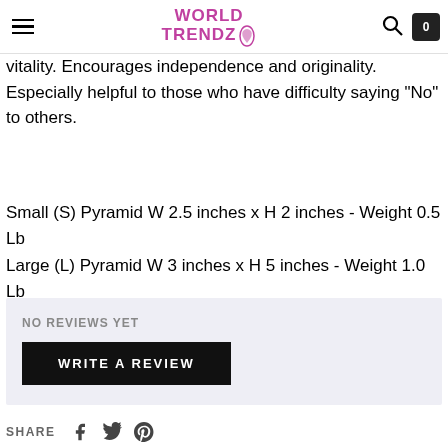World Trendz
vitality. Encourages independence and originality. Especially helpful to those who have difficulty saying “No” to others.
Small (S) Pyramid W 2.5 inches x H 2 inches - Weight 0.5 Lb
Large (L) Pyramid W 3 inches x H 5 inches - Weight 1.0 Lb
NO REVIEWS YET
WRITE A REVIEW
SHARE